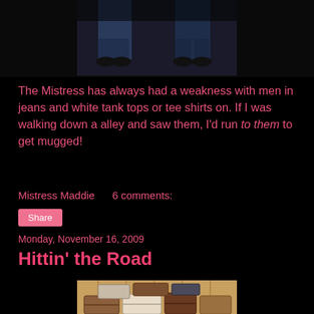[Figure (photo): Photo showing legs/lower body of two people wearing jeans and shoes against dark background]
The Mistress has always had a weakness with men in jeans and white tank tops or tee shirts on. If I was walking down a alley and saw them, I'd run to them to get mugged!
Mistress Maddie     6 comments:
Share
Monday, November 16, 2009
Hittin' the Road
[Figure (photo): Sepia-toned photo of a pile of vintage suitcases and luggage stacked against a wooden wall]